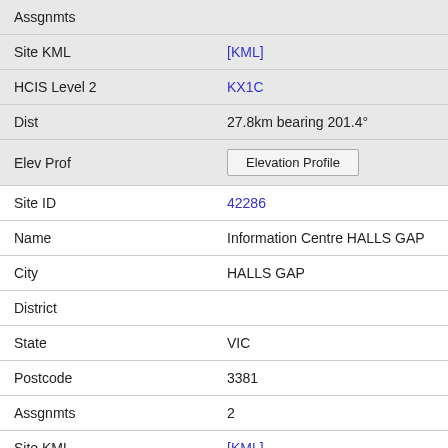| Field | Value |
| --- | --- |
| Assgnmts |  |
| Site KML | [KML] |
| HCIS Level 2 | KX1C |
| Dist | 27.8km bearing 201.4° |
| Elev Prof | Elevation Profile |
| Site ID | 42286 |
| Name | Information Centre HALLS GAP |
| City | HALLS GAP |
| District |  |
| State | VIC |
| Postcode | 3381 |
| Assgnmts | 2 |
| Site KML | [KML] |
| HCIS Level 2 | KX1C |
| Dist | 27.9km bearing 217.5° |
| Elev Prof | Elevation Profile |
| Site ID | 302544 |